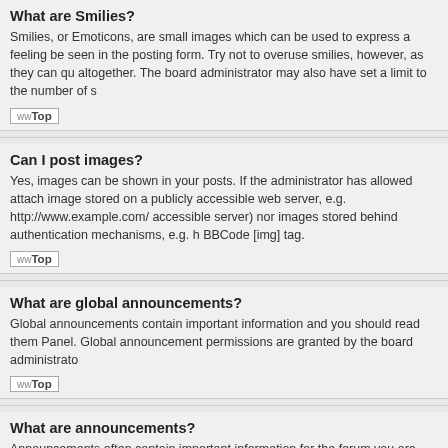What are Smilies?
Smilies, or Emoticons, are small images which can be used to express a feeling be seen in the posting form. Try not to overuse smilies, however, as they can qu altogether. The board administrator may also have set a limit to the number of s
Top
Can I post images?
Yes, images can be shown in your posts. If the administrator has allowed attach image stored on a publicly accessible web server, e.g. http://www.example.com/ accessible server) nor images stored behind authentication mechanisms, e.g. h BBCode [img] tag.
Top
What are global announcements?
Global announcements contain important information and you should read them Panel. Global announcement permissions are granted by the board administrato
Top
What are announcements?
Announcements often contain important information for the forum you are curren of every page in the forum to which they are posted. As with global announceme
Top
What are sticky topics?
Sticky topics within the forum appear below announcements and only on the firs